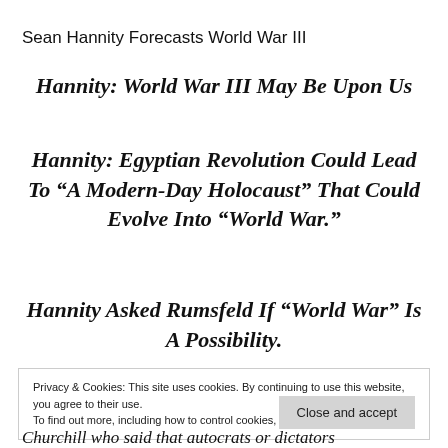Sean Hannity Forecasts World War III
Hannity: World War III May Be Upon Us
Hannity: Egyptian Revolution Could Lead To “A Modern-Day Holocaust” That Could Evolve Into “World War.”
Hannity Asked Rumsfeld If “World War” Is A Possibility.
Privacy & Cookies: This site uses cookies. By continuing to use this website, you agree to their use.
To find out more, including how to control cookies, see here: Cookie Policy
Close and accept
Churchill who said that autocrats or dictators